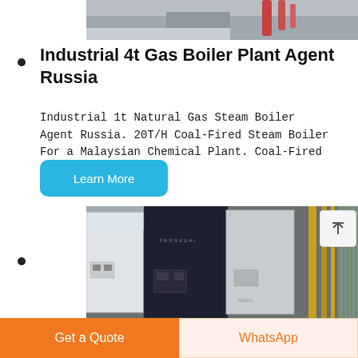[Figure (photo): Industrial boiler plant equipment photo showing pipes and machinery]
Industrial 4t Gas Boiler Plant Agent Russia
Industrial 1t Natural Gas Steam Boiler Agent Russia. 20T/H Coal-Fired Steam Boiler For a Malaysian Chemical Plant. Coal-Fired Steam...
Learn More
[Figure (photo): FANGKUAI branded industrial gas boilers and piping in a plant setting]
Get a Quote
WhatsApp